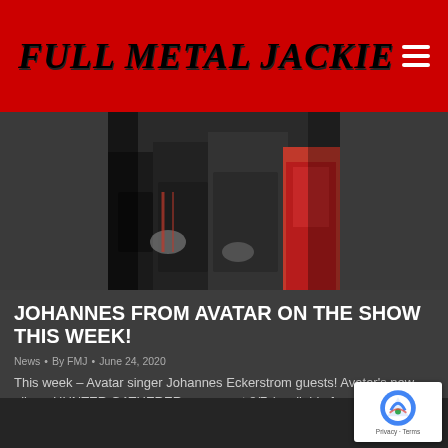FULL METAL JACKIE
[Figure (photo): Band members from Avatar in dark clothing including leather and red accents, posed together]
JOHANNES FROM AVATAR ON THE SHOW THIS WEEK!
News • By FMJ • June 24, 2020
This week – Avatar singer Johannes Eckerstrom guests! Avatar's new album HUNTER GATHERER comes out 8/7 (available for pre-order now.)
Details ▶